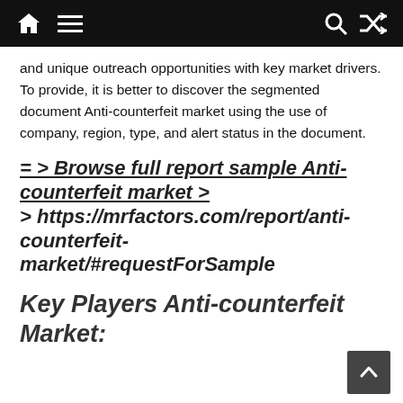Navigation bar with home, menu, search, and shuffle icons
and unique outreach opportunities with key market drivers. To provide, it is better to discover the segmented document Anti-counterfeit market using the use of company, region, type, and alert status in the document.
= > Browse full report sample Anti-counterfeit market > > https://mrfactors.com/report/anti-counterfeit-market/#requestForSample
Key Players Anti-counterfeit Market: